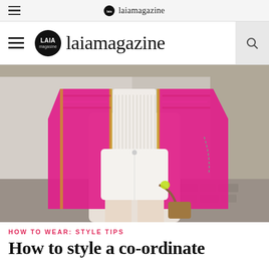laimagazine — browser navigation bar
laimagazine — website header with logo and search
[Figure (photo): Street style photo of a person wearing a bright pink boucle blazer jacket with gold trim, white ribbed top, and white denim shorts, standing on a cobblestone street]
HOW TO WEAR: STYLE TIPS
How to style a co-ordinate